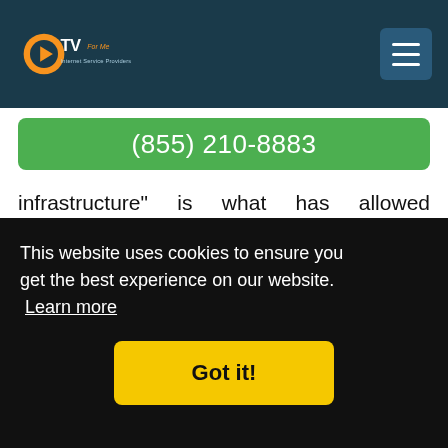CTV For Me - Internet Service Providers
(855) 210-8883
infrastructure" is what has allowed CenturyLink to bring high-speed internet and phone services into Phoenix, AZ. Combining the two of these together will give you access at one affordable price that our customers love! Bundling can reduce your monthly rate by as much as 20% and provide you with an easy-to-understand bill without any hidden
TV,
This website uses cookies to ensure you get the best experience on our website. Learn more
Got it!